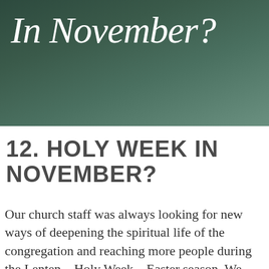[Figure (illustration): Dark green gradient banner background with italic white serif text reading 'In November?']
12. HOLY WEEK IN NOVEMBER?
Our church staff was always looking for new ways of deepening the spiritual life of the congregation and reaching more people during the Lenten – Holy Week – Easter season. We developed Lenten Sermon Series on a unified theme or progression of topics; we offered Lenten Study series using books that ilentî themselves to five or six lessons or sessions; we considered Lenten retreats for women or for men to